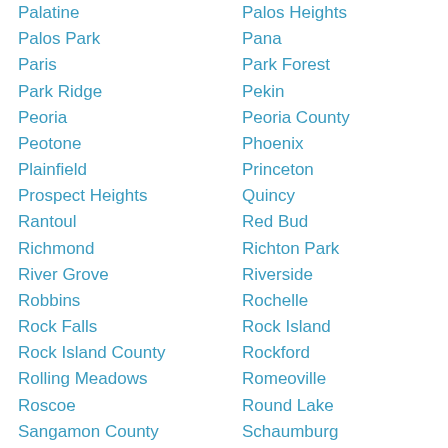Palatine
Palos Park
Paris
Park Ridge
Peoria
Peotone
Plainfield
Prospect Heights
Rantoul
Richmond
River Grove
Robbins
Rock Falls
Rock Island County
Rolling Meadows
Roscoe
Sangamon County
Schiller Park
Shabbona
Skokie
Palos Heights
Pana
Park Forest
Pekin
Peoria County
Phoenix
Princeton
Quincy
Red Bud
Richton Park
Riverside
Rochelle
Rock Island
Rockford
Romeoville
Round Lake
Schaumburg
Seneca
Shorewood
Sleepy Hollow